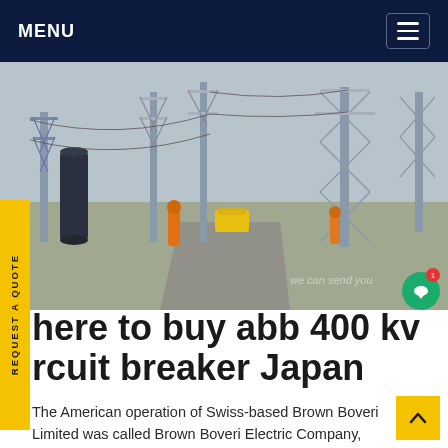MENU
[Figure (photo): Electrical substation with high-voltage equipment, towers, and workers in orange safety gear on a roadway between equipment rows. Overcast sky.]
here to buy abb 400 kv rcuit breaker Japan
The American operation of Swiss-based Brown Boveri Limited was called Brown Boveri Electric Company, incorporated as a U.S. company. In 1984